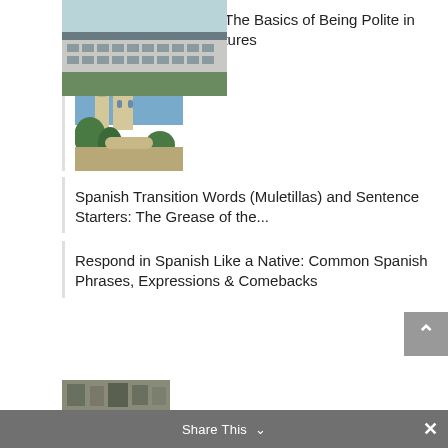[Figure (photo): Aerial view of a large institutional building with a grey roof, surrounded by greenery]
Manners in Spanish – The Basics of Being Polite in Spanish-Speaking Cultures
[Figure (photo): Photo of a Spanish church/cathedral tower with blue sky and trees in foreground]
Spanish Transition Words (Muletillas) and Sentence Starters: The Grease of the...
Respond in Spanish Like a Native: Common Spanish Phrases, Expressions & Comebacks
[Figure (photo): Partial bottom strip of an image showing people or a scene]
Share This  ˅  ×